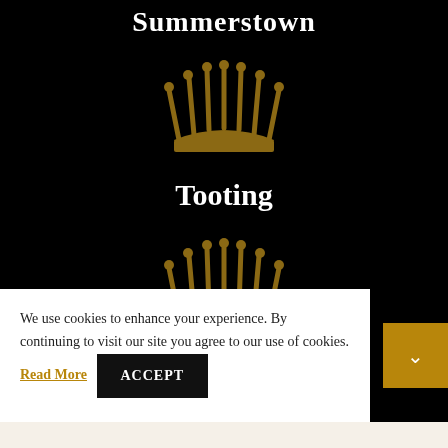Summerstown
[Figure (illustration): Golden crown icon on black background]
Tooting
[Figure (illustration): Golden crown icon on black background]
Wimbledon
We use cookies to enhance your experience. By continuing to visit our site you agree to our use of cookies. Read More ACCEPT